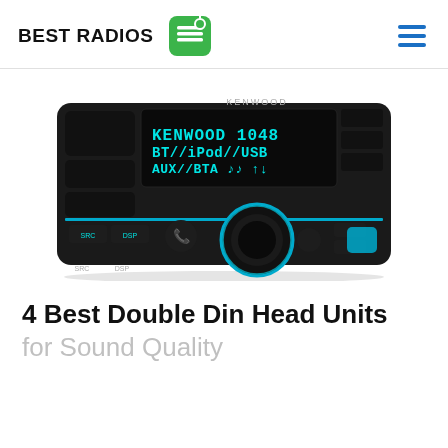BEST RADIOS
[Figure (photo): Kenwood double din car head unit with blue-lit display showing KENWOOD, BT//iPod//USB, AUX//BTA text, and cyan-lit volume knob]
4 Best Double Din Head Units
for Sound Quality